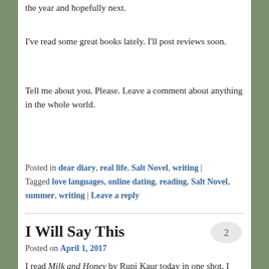the year and hopefully next.
I've read some great books lately. I'll post reviews soon.
Tell me about you. Please. Leave a comment about anything in the whole world.
Posted in dear diary, real life, Salt Novel, writing | Tagged love languages, online dating, reading, Salt Novel, summer, writing | Leave a reply
I Will Say This
Posted on April 1, 2017
I read Milk and Honey by Rupi Kaur today in one shot. I adored it. It was raw and empowering.